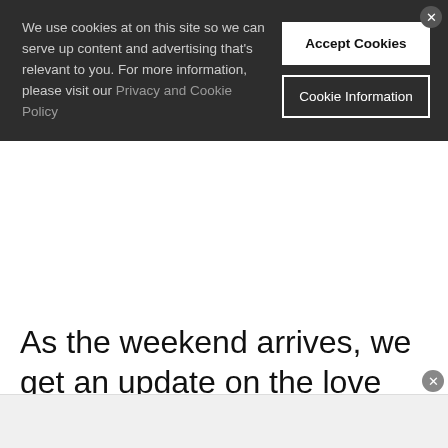We use cookies at on this site so we can serve up content and advertising that's relevant to you. For more information, please visit our Privacy and Cookie Policy
Accept Cookies
Cookie Information
As the weekend arrives, we get an update on the love lives of Danielle and Hannah. Turns out the former is in a flirtation with a hunky chef named